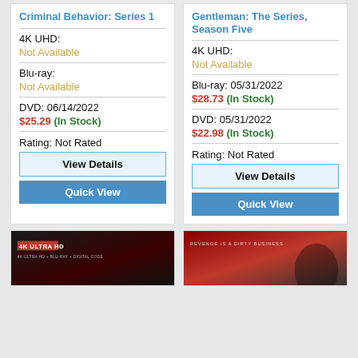Criminal Behavior: Series 1
4K UHD:
Not Available
Blu-ray:
Not Available
DVD: 06/14/2022
$25.29 (In Stock)
Rating: Not Rated
View Details
Quick View
Gentleman: The Series, Season Five
4K UHD:
Not Available
Blu-ray: 05/31/2022
$28.73 (In Stock)
DVD: 05/31/2022
$22.98 (In Stock)
Rating: Not Rated
View Details
Quick View
[Figure (photo): 4K Ultra HD movie box art with red and dark background, showing '4K ULTRA HD' badge and '4K ULTRA HD + BLU-RAY + DIGITAL CODE' text]
[Figure (photo): Movie cover with 'REVENGE IS A DIRTY BUSINESS' text on a dark red/orange background with partially visible figure]